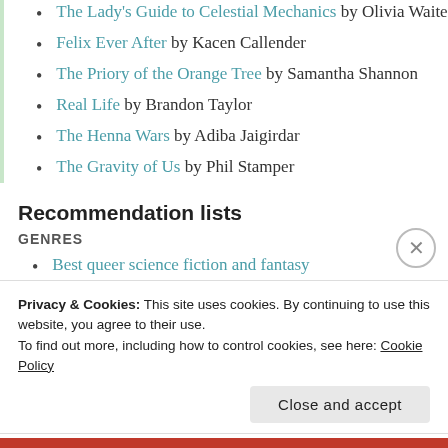The Lady's Guide to Celestial Mechanics by Olivia Waite
Felix Ever After by Kacen Callender
The Priory of the Orange Tree by Samantha Shannon
Real Life by Brandon Taylor
The Henna Wars by Adiba Jaigirdar
The Gravity of Us by Phil Stamper
Recommendation lists
GENRES
Best queer science fiction and fantasy
Privacy & Cookies: This site uses cookies. By continuing to use this website, you agree to their use.
To find out more, including how to control cookies, see here: Cookie Policy
Close and accept